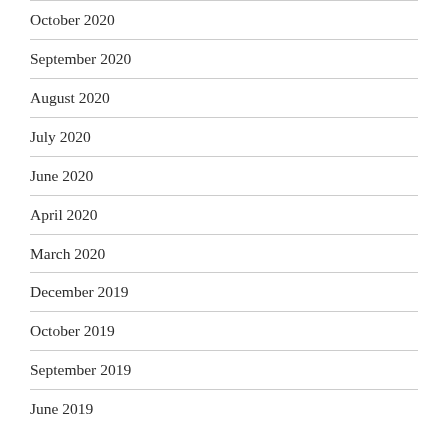October 2020
September 2020
August 2020
July 2020
June 2020
April 2020
March 2020
December 2019
October 2019
September 2019
June 2019